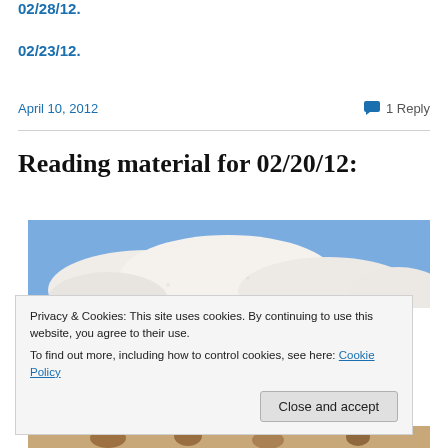02/28/12.
02/23/12.
April 10, 2012   💬 1 Reply
Reading material for 02/20/12:
[Figure (photo): Photo showing white clouds against a blue sky]
Privacy & Cookies: This site uses cookies. By continuing to use this website, you agree to their use.
To find out more, including how to control cookies, see here: Cookie Policy
[Figure (photo): Partial photo visible at bottom of page]